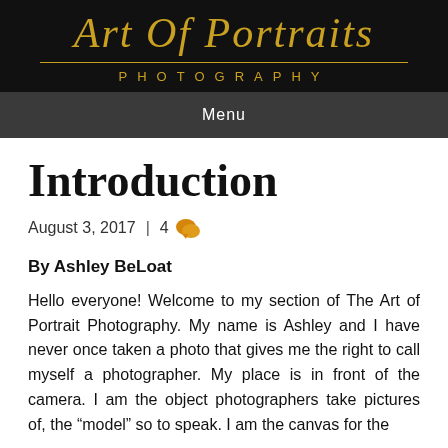[Figure (logo): Art Of Portraits Photography logo with gold script text and gold divider line on black background]
Menu
Introduction
August 3, 2017 | 4 [comment icon]
By Ashley BeLoat
Hello everyone! Welcome to my section of The Art of Portrait Photography. My name is Ashley and I have never once taken a photo that gives me the right to call myself a photographer. My place is in front of the camera. I am the object photographers take pictures of, the “model” so to speak. I am the canvas for the